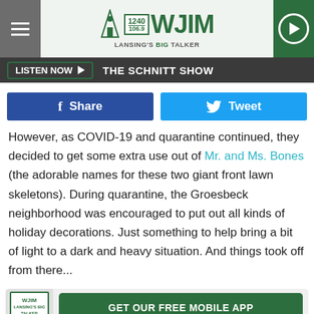[Figure (logo): WJIM 1240/106.9 Lansing's Big Talker radio station website header with menu icon, logo, and play button]
LISTEN NOW ▶  THE SCHNITT SHOW
[Figure (infographic): Facebook Share button and Twitter Tweet button row]
However, as COVID-19 and quarantine continued, they decided to get some extra use out of Mr. and Ms. Bones (the adorable names for these two giant front lawn skeletons). During quarantine, the Groesbeck neighborhood was encouraged to put out all kinds of holiday decorations. Just something to help bring a bit of light to a dark and heavy situation. And things took off from there...
[Figure (logo): WJIM logo with GET OUR FREE MOBILE APP button]